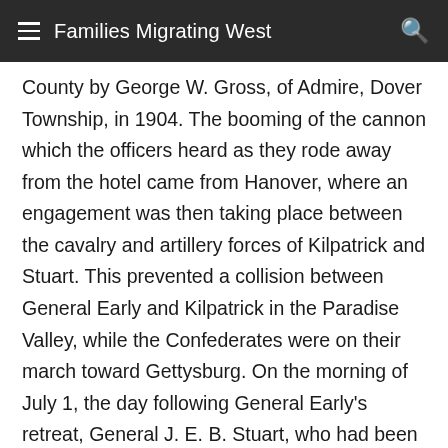Families Migrating West
County by George W. Gross, of Admire, Dover Township, in 1904. The booming of the cannon which the officers heard as they rode away from the hotel came from Hanover, where an engagement was then taking place between the cavalry and artillery forces of Kilpatrick and Stuart. This prevented a collision between General Early and Kilpatrick in the Paradise Valley, while the Confederates were on their march toward Gettysburg. On the morning of July 1, the day following General Early's retreat, General J. E. B. Stuart, who had been defeated at Hanover, crossed Dover Township with nearly 6000 mounted men. His troopers captured a large number of farm horses in this township and exchanged them for their worn-out nags which had seen hard service on the long march into Pennsylvania. They were never returned and many Dover horses were